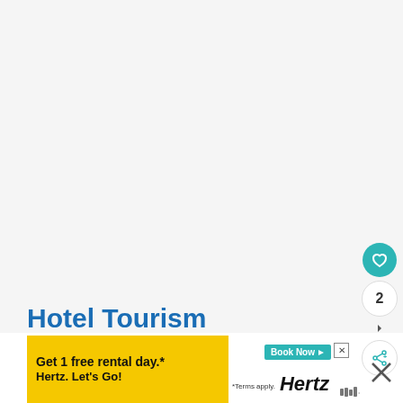[Figure (screenshot): Large white/light gray blank content area occupying the upper portion of the page, representing a webpage screenshot with no visible image loaded]
[Figure (infographic): Teal circular heart/like button, a circular count button showing '2', a small arrow indicator, and a teal circular share button with share icon, arranged vertically on the right side]
Hotel Tourism
[Figure (screenshot): Advertisement banner: yellow background with text 'Get 1 free rental day.* Hertz. Let’s Go!' and a teal 'Book Now' button with an ad icon, plus '*Terms apply.' and Hertz logo in italic bold black font. Close button (X) in border top-right corner.]